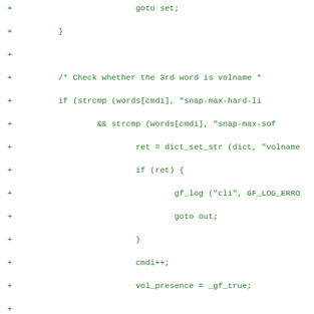Code diff showing C source additions including goto set, closing braces, comments, strcmp calls, dict_set_str, gf_log, cmdi++, vol_presence = _gf_true, if (cmdi == wordcount), config_type assignments, cli_snap_config_limit_parse, and related control flow.